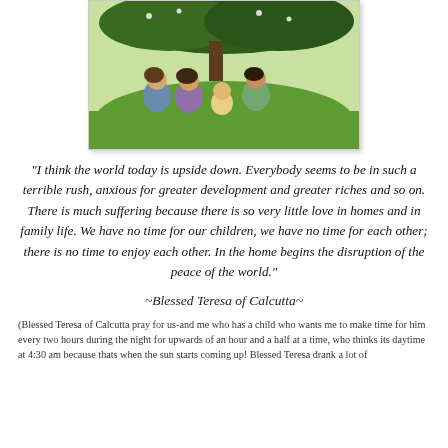[Figure (photo): Four young children sitting in green grass under a tree on a sunny day]
“I think the world today is upside down. Everybody seems to be in such a terrible rush, anxious for greater development and greater riches and so on. There is much suffering because there is so very little love in homes and in family life. We have no time for our children, we have no time for each other; there is no time to enjoy each other. In the home begins the disruption of the peace of the world.”
~Blessed Teresa of Calcutta~
(Blessed Teresa of Calcutta pray for us-and me who has a child who wants me to make time for him every two hours during the night for upwards of an hour and a half at a time, who thinks its daytime at 4:30 am because thats when the sun starts coming up! Blessed Teresa drank a lot of